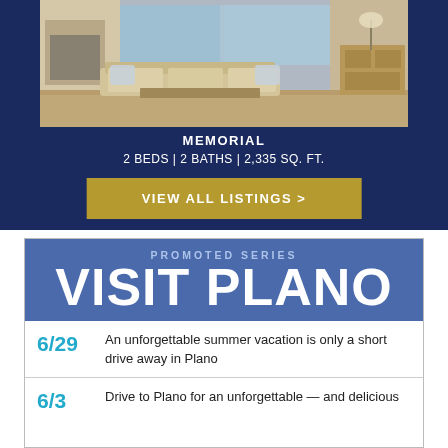[Figure (photo): Interior photo of an elegant living room with beige/neutral tones, sofa, coffee table, and large windows]
MEMORIAL
2 BEDS | 2 BATHS | 2,335 SQ. FT.
VIEW ALL LISTINGS >
PROMOTED SERIES
VISIT PLANO
6/29 An unforgettable summer vacation is only a short drive away in Plano
6/3 Drive to Plano for an unforgettable — and delicious